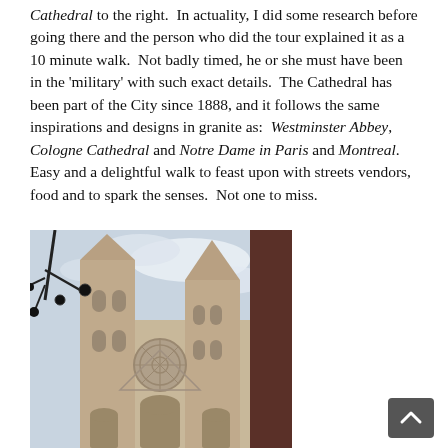Cathedral to the right. In actuality, I did some research before going there and the person who did the tour explained it as a 10 minute walk. Not badly timed, he or she must have been in the 'military' with such exact details. The Cathedral has been part of the City since 1888, and it follows the same inspirations and designs in granite as: Westminster Abbey, Cologne Cathedral and Notre Dame in Paris and Montreal. Easy and a delightful walk to feast upon with streets vendors, food and to spark the senses. Not one to miss.
[Figure (photo): Photograph of a Gothic cathedral with two tall spires, a rose window, and ornate stone facade. A decorative street lamp is visible in the foreground upper left. A dark reddish-brown pillar or column is partially visible on the right edge.]